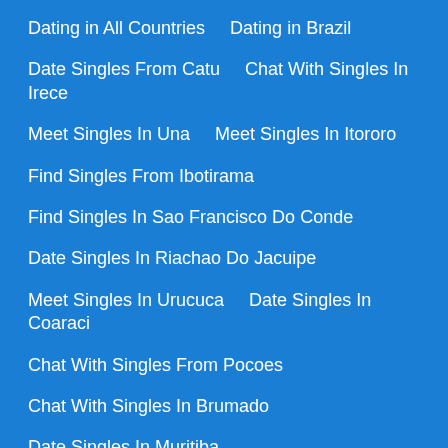Dating in All Countries    Dating in Brazil
Date Singles From Catu    Chat With Singles In Irece
Meet Singles In Una    Meet Singles In Itororo
Find Singles From Ibotirama
Find Singles In Sao Francisco Do Conde
Date Singles In Riachao Do Jacuipe
Meet Singles In Urucuca    Date Singles In Coaraci
Chat With Singles From Pocoes
Chat With Singles In Brumado
Date Singles In Muritiba